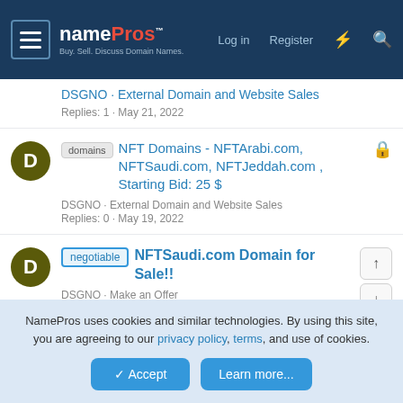namePros - Log in - Register
DSGNO · External Domain and Website Sales
Replies: 1 · May 21, 2022
[domains] NFT Domains - NFTArabi.com, NFTSaudi.com, NFTJeddah.com , Starting Bid: 25 $
DSGNO · External Domain and Website Sales
Replies: 0 · May 19, 2022
[negotiable] NFTSaudi.com Domain for Sale!!
DSGNO · Make an Offer
Replies: 1 · May 17, 2022
NamePros uses cookies and similar technologies. By using this site, you are agreeing to our privacy policy, terms, and use of cookies.